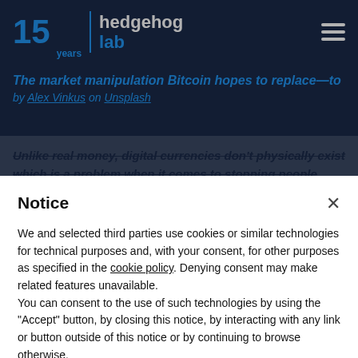[Figure (screenshot): Hedgehog Lab website header with logo showing '15 years' and navigation hamburger menu on dark navy background]
The market manipulation Bitcoin hopes to replace—to by Alex Vinkus on Unsplash
Unlike real money, digital currencies don’t physically exist which is a problem when it comes to stopping people from
Notice
We and selected third parties use cookies or similar technologies for technical purposes and, with your consent, for other purposes as specified in the cookie policy. Denying consent may make related features unavailable.
You can consent to the use of such technologies by using the “Accept” button, by closing this notice, by interacting with any link or button outside of this notice or by continuing to browse otherwise.
Accept